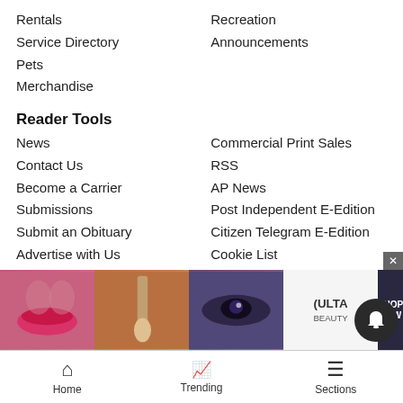Rentals
Recreation
Service Directory
Announcements
Pets
Merchandise
Reader Tools
News
Commercial Print Sales
Contact Us
RSS
Become a Carrier
AP News
Submissions
Post Independent E-Edition
Submit an Obituary
Citizen Telegram E-Edition
Advertise with Us
Cookie List
Archives
Do not sell my personal information
Newsletters
News Neighbors
Aspen-Snowmass
Vail-Eagle Valley
Breckenridge
Craig-Mo
Park City
[Figure (photo): Ulta Beauty advertisement banner with makeup imagery and Shop Now button]
Home   Trending   Sections